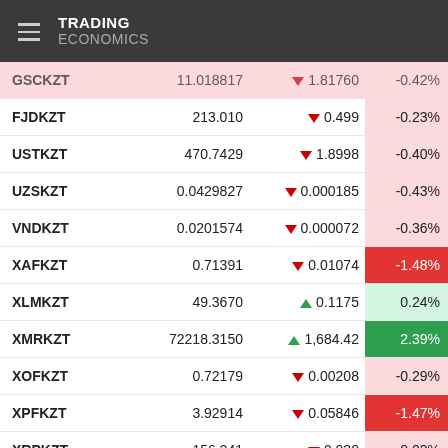TRADING ECONOMICS
| Symbol | Price | Change | % Change |
| --- | --- | --- | --- |
| GSCKZT | 11.018817 | ▼ 1.81760 | -0.42% |
| FJDKZT | 213.010 | ▼ 0.499 | -0.23% |
| USTKZT | 470.7429 | ▼ 1.8998 | -0.40% |
| UZSKZT | 0.0429827 | ▼ 0.000185 | -0.43% |
| VNDKZT | 0.0201574 | ▼ 0.000072 | -0.36% |
| XAFKZT | 0.71391 | ▼ 0.01074 | -1.48% |
| XLMKZT | 49.3670 | ▲ 0.1175 | 0.24% |
| XMRKZT | 72218.3150 | ▲ 1,684.42 | 2.39% |
| XOFKZT | 0.72179 | ▼ 0.00208 | -0.29% |
| XPFKZT | 3.92914 | ▼ 0.05846 | -1.47% |
| XRPKZT | 156.241 | ▼ 0.030 | -0.02% |